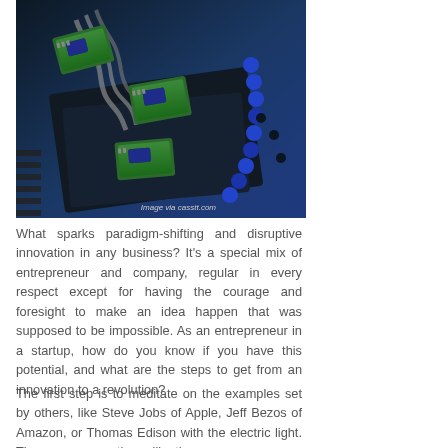[Figure (photo): Close-up photo of green circuit board modules connected by ribbon cables on a dark blue surface, with blue connector beads. Watermark reads 'Image via casstt.com'.]
What sparks paradigm-shifting and disruptive innovation in any business? It's a special mix of entrepreneur and company, regular in every respect except for having the courage and foresight to make an idea happen that was supposed to be impossible. As an entrepreneur in a startup, how do you know if you have this potential, and what are the steps to get from an innovation to a revolution?
The first step is to meditate on the examples set by others, like Steve Jobs of Apple, Jeff Bezos of Amazon, or Thomas Edison with the electric light. There are many others, like the